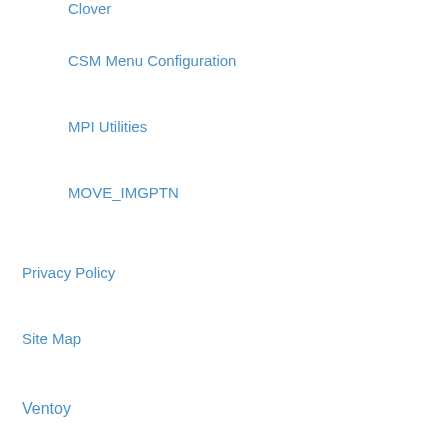Clover
CSM Menu Configuration
MPI Utilities
MOVE_IMGPTN
Privacy Policy
Site Map
Ventoy
Add\Update Ventoy
Add latest official Ventoy image
Boot Windows 11 on non-TPM systems using Ventoy
Add Easy2Boot to a Ventoy USB drive
Tested payloads
About
Licensing